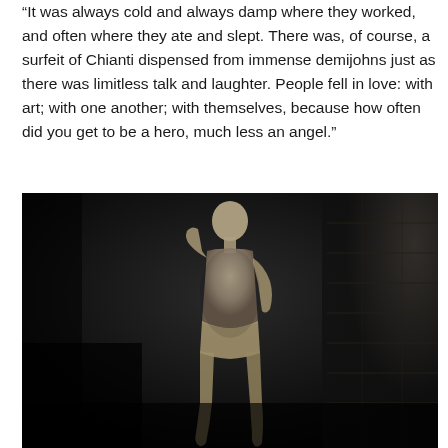“It was always cold and always damp where they worked, and often where they ate and slept. There was, of course, a surfeit of Chianti dispensed from immense demijohns just as there was limitless talk and laughter. People fell in love: with art; with one another; with themselves, because how often did you get to be a hero, much less an angel.”
[Figure (photo): Black and white photograph of a nude male sculpture or figure, photographed in a dark indoor setting with stone or brick walls visible in the background. The figure appears to be a classical-style statue, standing upright with arms slightly away from the body.]